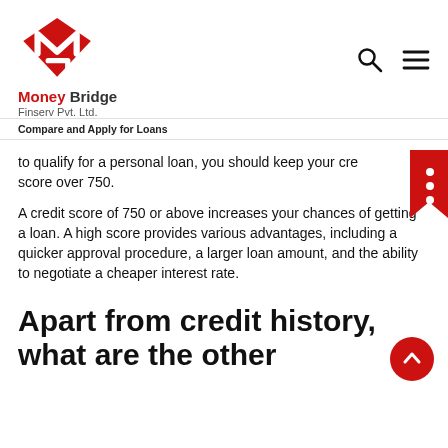[Figure (logo): Money Bridge Finserv Pvt. Ltd. logo with red diamond-shaped M icon]
Compare and Apply for Loans
to qualify for a personal loan, you should keep your credit score over 750.
A credit score of 750 or above increases your chances of getting a loan. A high score provides various advantages, including a quicker approval procedure, a larger loan amount, and the ability to negotiate a cheaper interest rate.
Apart from credit history, what are the other